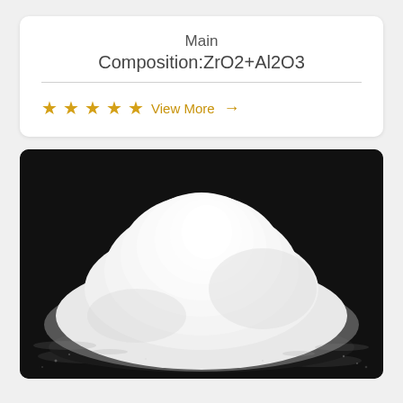Main
Composition:ZrO2+Al2O3
★★★★★ View More →
[Figure (photo): A mound of fine white powder (ZrO2+Al2O3 composition) photographed on a dark black background, showing a rounded heap of white ceramic powder material.]